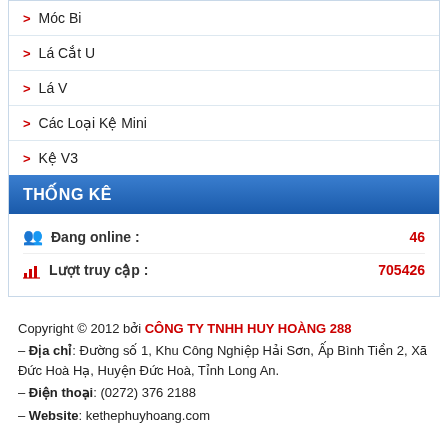> Móc Bi
> Lá Cắt U
> Lá V
> Các Loại Kệ Mini
> Kệ V3
THỐNG KÊ
Đang online : 46
Lượt truy cập : 705426
Copyright © 2012 bởi CÔNG TY TNHH HUY HOÀNG 288
– Địa chỉ: Đường số 1, Khu Công Nghiệp Hải Sơn, Ấp Bình Tiền 2, Xã Đức Hoà Hạ, Huyện Đức Hoà, Tỉnh Long An.
– Điện thoại: (0272) 376 2188
– Website: kethephuyhoang.com
– VPDG: 207 Văn Thân, Phường 8, Quận 6, Tp.HCM
– Điện thoại: (028) 3 854 3307 | Fax: (028) 3 854 2420